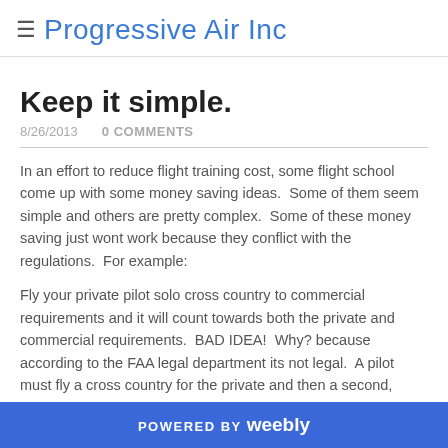Progressive Air Inc
Keep it simple.
8/26/2013   0 COMMENTS
In an effort to reduce flight training cost, some flight school come up with some money saving ideas.  Some of them seem simple and others are pretty complex.  Some of these money saving just wont work because they conflict with the regulations.  For example:
Fly your private pilot solo cross country to commercial requirements and it will count towards both the private and commercial requirements.  BAD IDEA!  Why? because according to the FAA legal department its not legal.  A pilot must fly a cross country for the private and then a second, longer, cross country
POWERED BY weebly